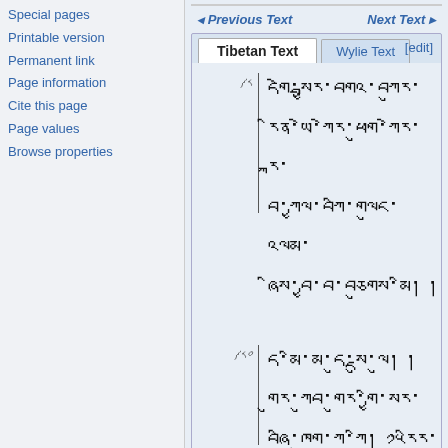Special pages
Printable version
Permanent link
Page information
Cite this page
Page values
Browse properties
◂ Previous Text    Next Text ▸
Tibetan Text | Wylie Text [edit]
[Figure (screenshot): Tibetan script text section ༼༨ with four lines of Tibetan characters]
[Figure (screenshot): Tibetan script text section ༼༨༠ with three lines of Tibetan characters]